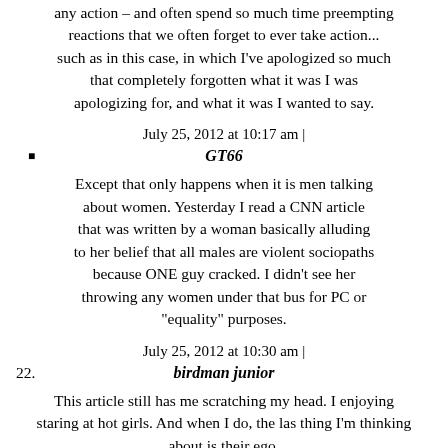any action – and often spend so much time preempting reactions that we often forget to ever take action... such as in this case, in which I've apologized so much that completely forgotten what it was I was apologizing for, and what it was I wanted to say.
July 25, 2012 at 10:17 am |
GT66
Except that only happens when it is men talking about women. Yesterday I read a CNN article that was written by a woman basically alluding to her belief that all males are violent sociopaths because ONE guy cracked. I didn't see her throwing any women under that bus for PC or "equality" purposes.
July 25, 2012 at 10:30 am |
birdman junior
This article still has me scratching my head. I enjoying staring at hot girls. And when I do, the las thing I'm thinking about is their ego.
July 25, 2012 at 10:01 am |